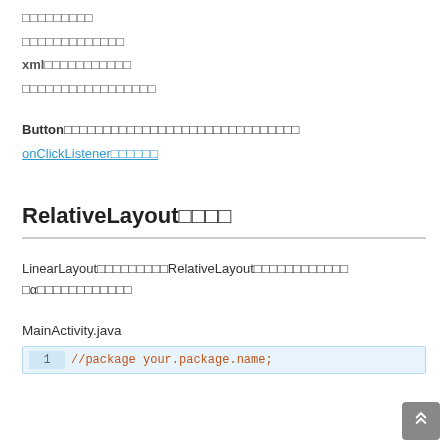□□□□□□□□□
□□□□□□□□□□□□□
xml□□□□□□□□□□□
□□□□□□□□□□□□□□□□□
Button□□□□□□□□□□□□□□□□□□□□□□□□□□□□□□
onClickListener□□□□□□
RelativeLayout□□□□
LinearLayout□□□□□□□□□RelativeLayout□□□□□□□□□□□□
□α□□□□□□□□□□□□
MainActivity.java
//package your.package.name;